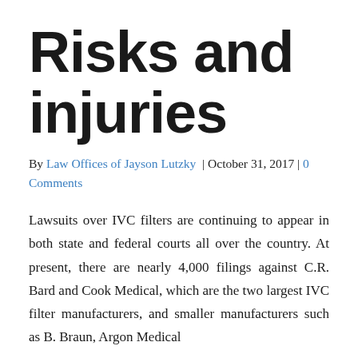Risks and injuries
By Law Offices of Jayson Lutzky | October 31, 2017 | 0 Comments
Lawsuits over IVC filters are continuing to appear in both state and federal courts all over the country. At present, there are nearly 4,000 filings against C.R. Bard and Cook Medical, which are the two largest IVC filter manufacturers, and smaller manufacturers such as B. Braun, Argon Medical